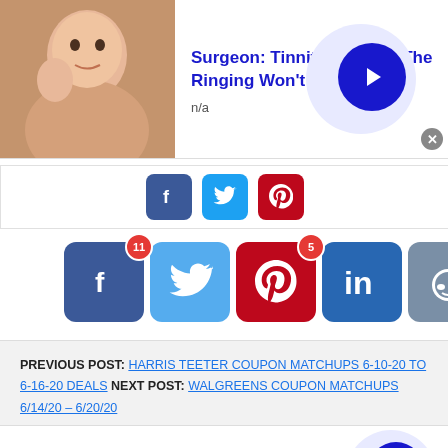[Figure (screenshot): Top advertisement banner: person photo on left, title 'Surgeon: Tinnitus? When The Ringing Won't' in blue, 'n/a' subtitle, blue arrow circle button on right, close X button]
[Figure (screenshot): Small social share row with Facebook (blue), Twitter (blue), Pinterest (red) icon buttons]
[Figure (screenshot): Large social share row: Facebook (11 badge), Twitter, Pinterest (5 badge), LinkedIn, Reddit, Mail, More share buttons]
PREVIOUS POST: HARRIS TEETER COUPON MATCHUPS 6-10-20 TO 6-16-20 DEALS NEXT POST: WALGREENS COUPON MATCHUPS 6/14/20 – 6/20/20
[Figure (screenshot): Bottom advertisement banner: Belk.com - Belk® - Official Site, Shop for clothing, handbags, jewelry, beauty, home & more!, www.belk.com, blue arrow circle button]